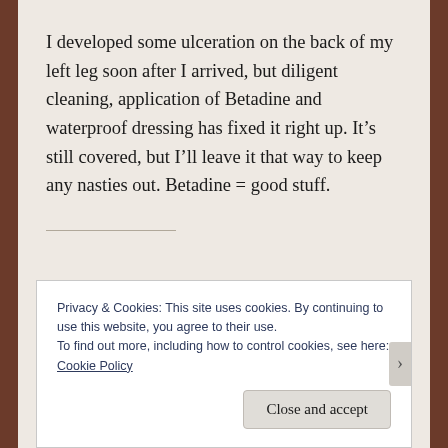I developed some ulceration on the back of my left leg soon after I arrived, but diligent cleaning, application of Betadine and waterproof dressing has fixed it right up. It's still covered, but I'll leave it that way to keep any nasties out. Betadine = good stuff.
Privacy & Cookies: This site uses cookies. By continuing to use this website, you agree to their use.
To find out more, including how to control cookies, see here: Cookie Policy
Close and accept